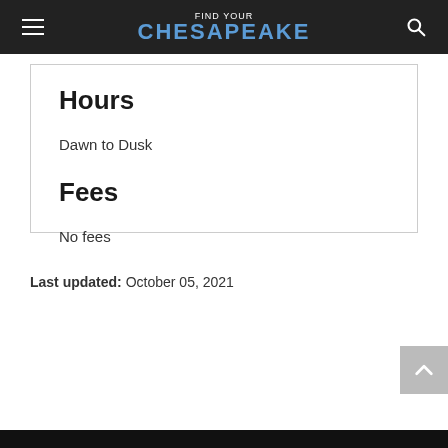FIND YOUR CHESAPEAKE
Hours
Dawn to Dusk
Fees
No fees
Last updated: October 05, 2021